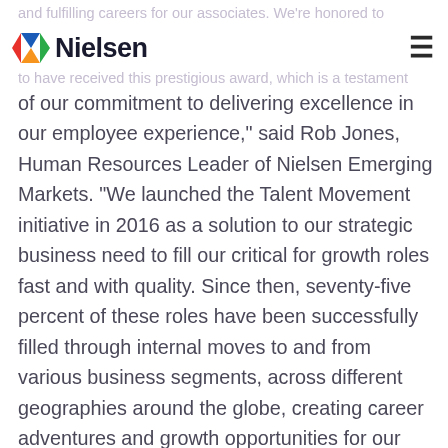and fulfilling careers for our associates. We're honored to have received this prestigious award, which is a testament
[Figure (logo): Nielsen logo with colorful diamond/arrow icon and bold Nielsen wordmark]
of our commitment to delivering excellence in our employee experience,” said Rob Jones, Human Resources Leader of Nielsen Emerging Markets. “We launched the Talent Movement initiative in 2016 as a solution to our strategic business need to fill our critical for growth roles fast and with quality. Since then, seventy-five percent of these roles have been successfully filled through internal moves to and from various business segments, across different geographies around the globe, creating career adventures and growth opportunities for our associates. Talent Movement is all about getting the right person into the right role, at the right time. Looking at the positive impact it has created on the business and our associates engagement, Talent Movement will continue